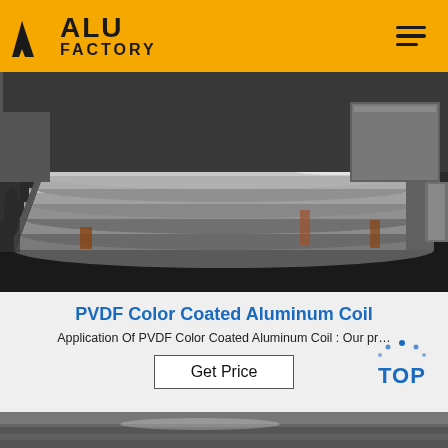ALU FACTORY
[Figure (photo): Stack of aluminum sheets/plates stored in a warehouse, showing silvery metallic surfaces with reflective finish, stacked horizontally on pallets in a dark industrial setting.]
PVDF Color Coated Aluminum Coil
Application Of PVDF Color Coated Aluminum Coil : Our pr…
Get Price
[Figure (logo): TOP badge icon with blue dots arranged in arc above the word TOP in blue letters]
[Figure (photo): Bottom strip showing another aluminum product photo, partially visible]